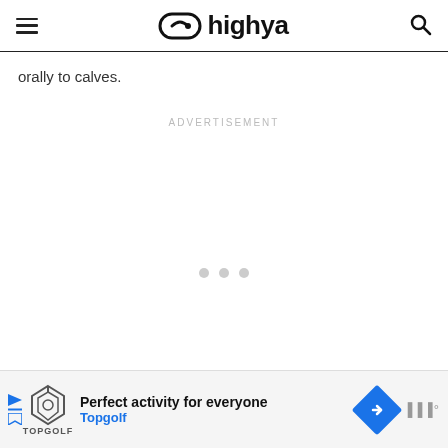highya
orally to calves.
ADVERTISEMENT
[Figure (other): Three grey loading dots in the advertisement area]
[Figure (other): Bottom advertisement banner for Topgolf showing logo, text 'Perfect activity for everyone', 'Topgolf', navigation diamond icon]